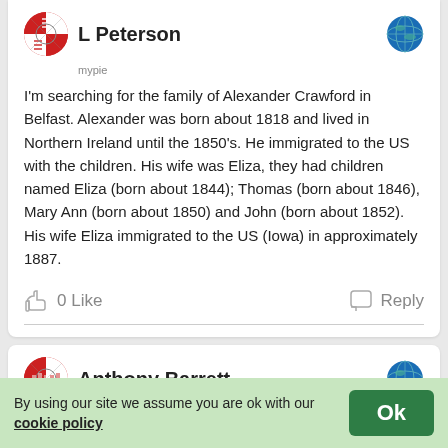L Peterson
I'm searching for the family of Alexander Crawford in Belfast. Alexander was born about 1818 and lived in Northern Ireland until the 1850's. He immigrated to the US with the children. His wife was Eliza, they had children named Eliza (born about 1844); Thomas (born about 1846), Mary Ann (born about 1850) and John (born about 1852). His wife Eliza immigrated to the US (Iowa) in approximately 1887.
0 Like   Reply
Anthony Barrett
(Part 1 of 8): The Crawford name is from Scotland, but its origin according to DNA is from the north-west coast of the Emerald Island. The Crawford story [dominated by DNA
By using our site we assume you are ok with our cookie policy
Ok